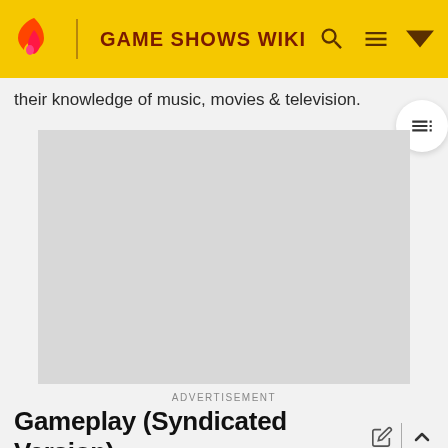GAME SHOWS WIKI
their knowledge of music, movies & television.
[Figure (other): Advertisement placeholder — grey rectangle]
ADVERTISEMENT
Gameplay (Syndicated Version)